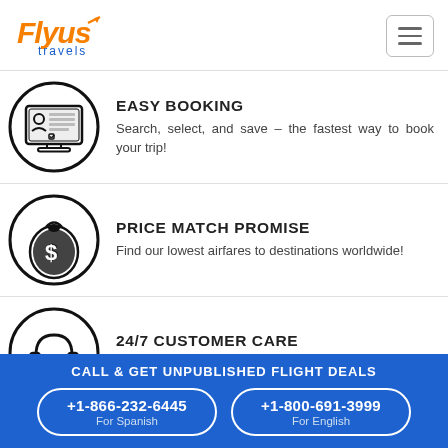[Figure (logo): FlyUs Travels logo in orange and blue script]
[Figure (illustration): Easy booking icon: computer with user profile and booking form inside a circle]
EASY BOOKING
Search, select, and save – the fastest way to book your trip!
[Figure (illustration): Price match promise icon: money bag with dollar sign inside a circle]
PRICE MATCH PROMISE
Find our lowest airfares to destinations worldwide!
[Figure (illustration): 24/7 customer care icon: headset and wrench/tools inside a circle]
24/7 CUSTOMER CARE
Get award-winning travel services round...
CALL & GET UNPUBLISHED FLIGHT DEALS
+1-866-232-6445 For Spanish
+1-800-691-3999 For English